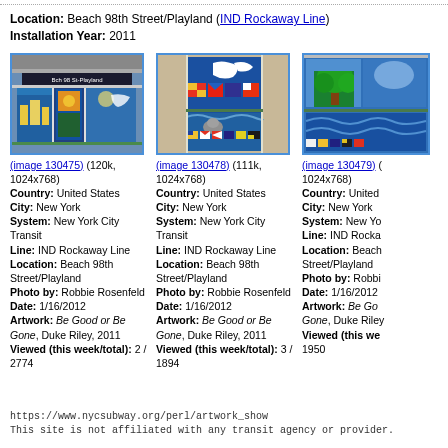Location: Beach 98th Street/Playland (IND Rockaway Line)
Installation Year: 2011
[Figure (photo): Photo of stained glass artwork at Beach 98th Street/Playland subway station showing colorful panels with buildings and decorative motifs. Image 130475, 120k, 1024x768.]
(image 130475) (120k, 1024x768)
Country: United States
City: New York
System: New York City Transit
Line: IND Rockaway Line
Location: Beach 98th Street/Playland
Photo by: Robbie Rosenfeld
Date: 1/16/2012
Artwork: Be Good or Be Gone, Duke Riley, 2011
Viewed (this week/total): 2 / 2774
[Figure (photo): Photo of stained glass artwork showing a bird/dove and nautical flag signals at Beach 98th Street/Playland subway station. Image 130478, 111k, 1024x768.]
(image 130478) (111k, 1024x768)
Country: United States
City: New York
System: New York City Transit
Line: IND Rockaway Line
Location: Beach 98th Street/Playland
Photo by: Robbie Rosenfeld
Date: 1/16/2012
Artwork: Be Good or Be Gone, Duke Riley, 2011
Viewed (this week/total): 3 / 1894
[Figure (photo): Photo of stained glass artwork showing a tree and waves at Beach 98th Street/Playland subway station. Image 130479, 1024x768.]
(image 130479) (
1024x768)
Country: United States
City: New York
System: New York City Transit
Line: IND Rockaway Line
Location: Beach 98th Street/Playland
Photo by: Robbie Rosenfeld
Date: 1/16/2012
Artwork: Be Good or Be Gone, Duke Riley, 2011
Viewed (this week/total): 1950
https://www.nycsubway.org/perl/artwork_show
This site is not affiliated with any transit agency or provider.